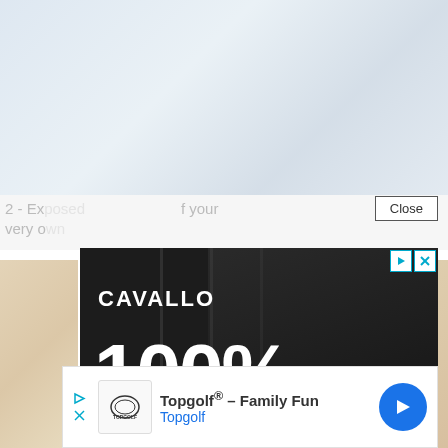[Figure (screenshot): Blurred background webpage content showing partial text and warehouse/vehicle imagery]
[Figure (screenshot): Close button overlay element]
[Figure (photo): Cavallo advertisement: dark background with forklift operator in warehouse. Text reads CAVALLO, 100% FOCUSED ON DISTRIBUTORS, RETHINK DISTRIBUTION. Ad icons (play and X) in top right corner.]
[Figure (screenshot): Bottom banner ad for Topgolf - Family Fun, with Topgolf logo and blue navigation arrow icon. Play and X ad icons on left.]